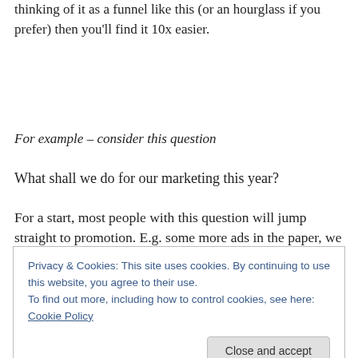thinking of it as a funnel like this (or an hourglass if you prefer) then you'll find it 10x easier.
For example – consider this question
What shall we do for our marketing this year?
For a start, most people with this question will jump straight to promotion. E.g. some more ads in the paper, we
Privacy & Cookies: This site uses cookies. By continuing to use this website, you agree to their use.
To find out more, including how to control cookies, see here: Cookie Policy
Close and accept